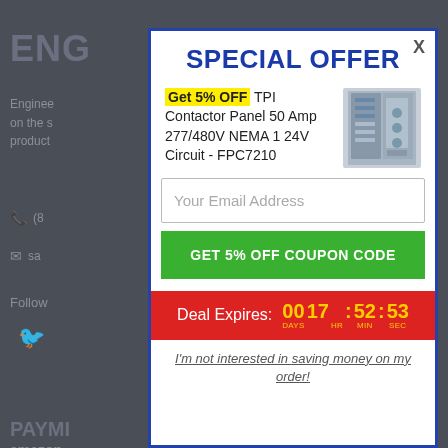[Figure (screenshot): Dark website background with partial text: ENG header, body text about Enginee...ny listed on the s...esh product, phone icon, email icon, Follow section, Twitter icon, PAYMI... section, amazon text, and right-side partial text]
SPECIAL OFFER
Get 5% OFF TPI Contactor Panel 50 Amp 277/480V NEMA 1 24V Circuit - FPC7210
[Figure (photo): Product image of TPI Contactor Panel - gray electrical panel box with open door showing internal wiring]
Your Email Address
GET 5% OFF COUPON CODE
Deal Expires: 00 DAYS 17 HR : 52 MIN : 53 SEC
I'm not interested in saving money on my order!